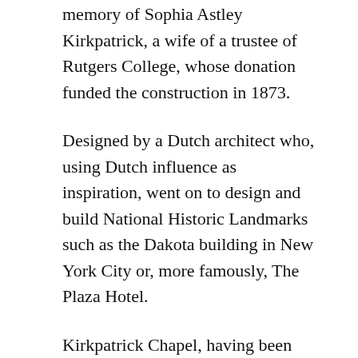memory of Sophia Astley Kirkpatrick, a wife of a trustee of Rutgers College, whose donation funded the construction in 1873.
Designed by a Dutch architect who, using Dutch influence as inspiration, went on to design and build National Historic Landmarks such as the Dakota building in New York City or, more famously, The Plaza Hotel.
Kirkpatrick Chapel, having been built at Rutgers College and whose construction was funded in memory of the wife of a Rutgers trustee, was originally designed to serve as a chapel and to house the college's library. However, with the construction of Voorhees